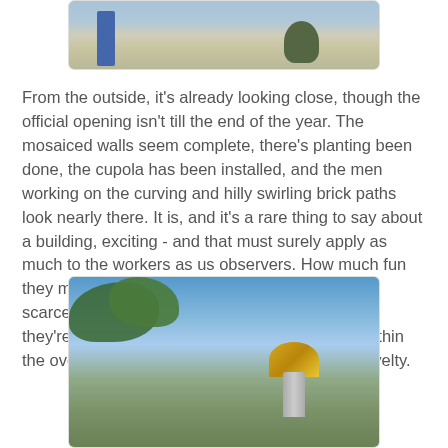[Figure (photo): Outdoor construction scene with mosaic walls, sandy ground, and a tree visible, viewed from outside]
From the outside, it's already looking close, though the official opening isn't till the end of the year. The mosaiced walls seem complete, there's planting been done, the cupola has been installed, and the men working on the curving and hilly swirling brick paths look nearly there. It is, and it's a rare thing to say about a building, exciting - and that must surely apply as much to the workers as us observers. How much fun they must be having, breaking all the rules, with scarcely a right angle to be seen anywhere! And they're allowed to exercise their own creativity within the overall design, which must be a delightful novelty.
[Figure (photo): Outdoor view of a building with a golden cupola/dome visible through tree branches against a blue sky]